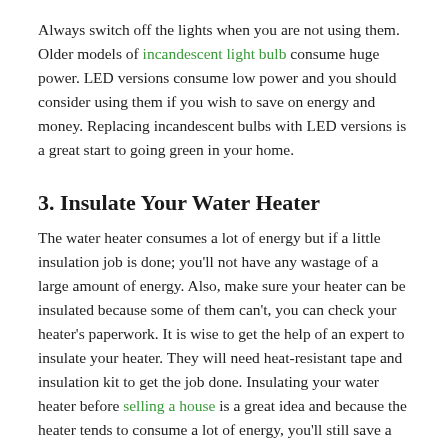Always switch off the lights when you are not using them. Older models of incandescent light bulb consume huge power. LED versions consume low power and you should consider using them if you wish to save on energy and money. Replacing incandescent bulbs with LED versions is a great start to going green in your home.
3. Insulate Your Water Heater
The water heater consumes a lot of energy but if a little insulation job is done; you'll not have any wastage of a large amount of energy. Also, make sure your heater can be insulated because some of them can't, you can check your heater's paperwork. It is wise to get the help of an expert to insulate your heater. They will need heat-resistant tape and insulation kit to get the job done. Insulating your water heater before selling a house is a great idea and because the heater tends to consume a lot of energy, you'll still save a lot of energy, and can be a value add for the buyer.
4. Go All-Electronic
Going all electronic is a convenient step of going green and electronic billing saves up to 23 pounds of wood annually. You'll also do away with the